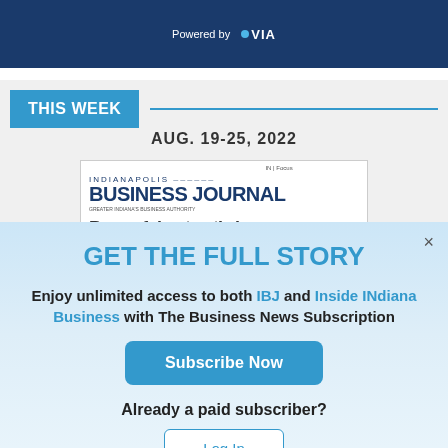[Figure (logo): Top dark blue banner with 'Powered by VIA' logo and decorative hand graphic]
THIS WEEK
AUG. 19-25, 2022
[Figure (screenshot): Indianapolis Business Journal magazine cover thumbnail]
GET THE FULL STORY
Enjoy unlimited access to both IBJ and Inside INdiana Business with The Business News Subscription
Subscribe Now
Already a paid subscriber?
Log In